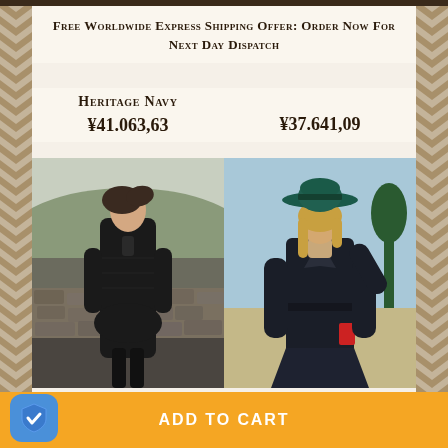Free Worldwide Express Shipping Offer: Order Now For Next Day Dispatch
Heritage Navy
¥41.063,63
¥37.641,09
[Figure (photo): Woman wearing a dark navy quilted long coat outdoors with rocky landscape background]
[Figure (photo): Woman wearing a dark navy long wax coat and teal wide-brim hat, outdoor landscape background]
Choose options ∨
ADD TO CART